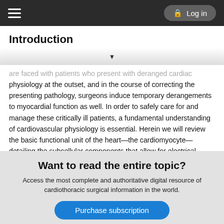Log in
Introduction
are faced with patients who present with deranged cardiac physiology at the outset, and in the course of correcting the presenting pathology, surgeons induce temporary derangements to myocardial function as well. In order to safely care for and manage these critically ill patients, a fundamental understanding of cardiovascular physiology is essential. Herein we will review the basic functional unit of the heart—the cardiomyocyte—detailing the subcellular components that allow for electrical signaling and uniform contraction to allow the heart to serve its function.
Want to read the entire topic?
Access the most complete and authoritative digital resource of cardiothoracic surgical information in the world.
Purchase subscription
I'm already a subscriber
Browse sample topics